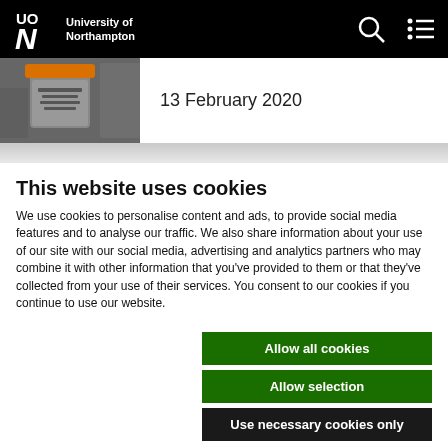University of Northampton
[Figure (photo): Photo of a recycling bin with orange lid and text label]
13 February 2020
This website uses cookies
We use cookies to personalise content and ads, to provide social media features and to analyse our traffic. We also share information about your use of our site with our social media, advertising and analytics partners who may combine it with other information that you've provided to them or that they've collected from your use of their services. You consent to our cookies if you continue to use our website.
Allow all cookies
Allow selection
Use necessary cookies only
Necessary  Preferences  Statistics  Marketing  Show details